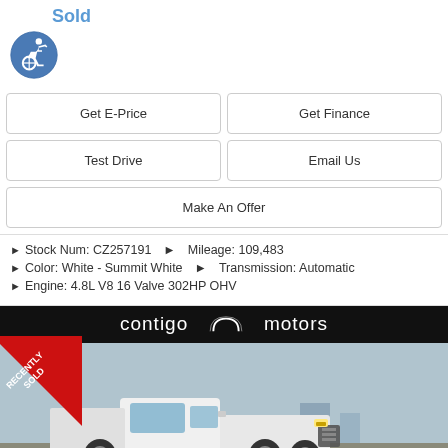Sold
[Figure (illustration): Wheelchair accessibility icon — blue circle with white wheelchair user figure]
Get E-Price
Get Finance
Test Drive
Email Us
Make An Offer
Stock Num: CZ257191   Mileage: 109,483
Color: White - Summit White   Transmission: Automatic
Engine: 4.8L V8 16 Valve 302HP OHV
[Figure (photo): Contigo Motors dealer banner with logo, and a white Chevrolet pickup truck in the dealership lot with 'RECENTLY SOLD' ribbon overlay]